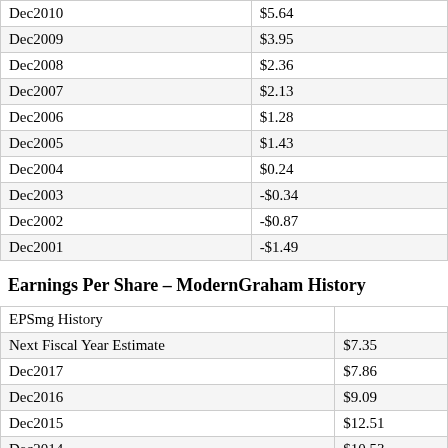|  |  |
| --- | --- |
| Dec2010 | $5.64 |
| Dec2009 | $3.95 |
| Dec2008 | $2.36 |
| Dec2007 | $2.13 |
| Dec2006 | $1.28 |
| Dec2005 | $1.43 |
| Dec2004 | $0.24 |
| Dec2003 | -$0.34 |
| Dec2002 | -$0.87 |
| Dec2001 | -$1.49 |
Earnings Per Share – ModernGraham History
| EPSmg History |  |
| --- | --- |
| Next Fiscal Year Estimate | $7.35 |
| Dec2017 | $7.86 |
| Dec2016 | $9.09 |
| Dec2015 | $12.51 |
| Dec2014 | $10.53 |
| Dec2013 | $8.19 |
| Dec2012 | $6.53 |
| Dec2011 | $5.00 |
| Dec2010 | $3.77 |